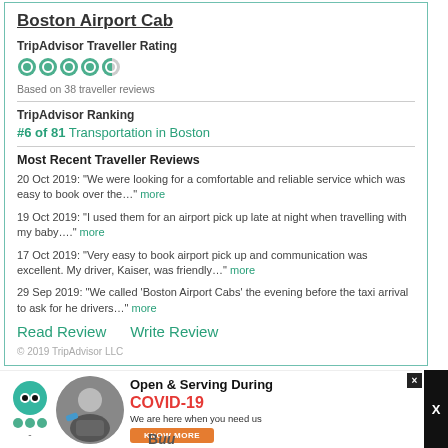Boston Airport Cab
TripAdvisor Traveller Rating
[Figure (other): 5 green circle rating icons (TripAdvisor bubbles)]
Based on 38 traveller reviews
TripAdvisor Ranking
#6 of 81 Transportation in Boston
Most Recent Traveller Reviews
20 Oct 2019: "We were looking for a comfortable and reliable service which was easy to book over the...." more
19 Oct 2019: "I used them for an airport pick up late at night when travelling with my baby...." more
17 Oct 2019: "Very easy to book airport pick up and communication was excellent. My driver, Kaiser, was friendly..." more
29 Sep 2019: "We called 'Boston Airport Cabs' the evening before the taxi arrival to ask for he drivers..." more
Read Review   Write Review
© 2019 TripAdvisor LLC
[Figure (infographic): COVID-19 ad banner: TripAdvisor logo, circular photo of person cleaning car, text 'Open & Serving During COVID-19 We are here when you need us' with KNOW MORE button]